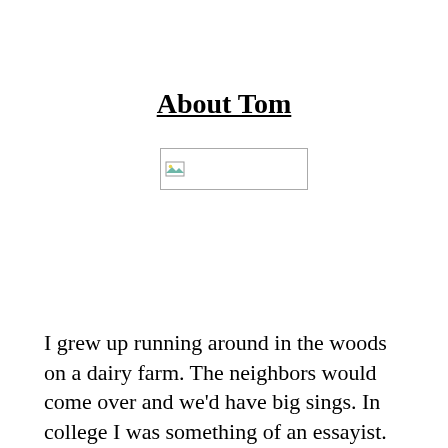About Tom
[Figure (photo): Broken/missing image placeholder with small image icon in top-left corner]
I grew up running around in the woods on a dairy farm. The neighbors would come over and we'd have big sings. In college I was something of an essayist. Then, I farmed for seventeen